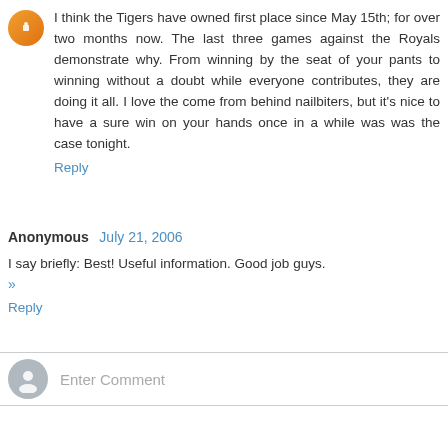I think the Tigers have owned first place since May 15th; for over two months now. The last three games against the Royals demonstrate why. From winning by the seat of your pants to winning without a doubt while everyone contributes, they are doing it all. I love the come from behind nailbiters, but it's nice to have a sure win on your hands once in a while was was the case tonight.
Reply
Anonymous  July 21, 2006
I say briefly: Best! Useful information. Good job guys.
>>
Reply
Enter Comment